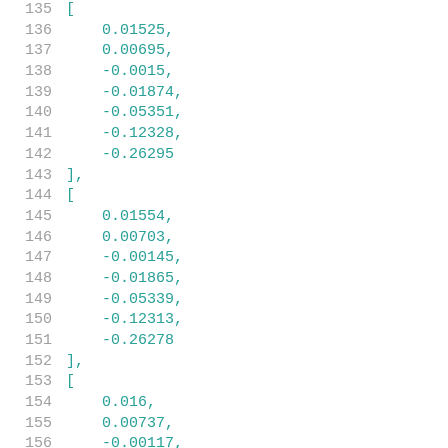135 [
136     0.01525,
137     0.00695,
138     -0.0015,
139     -0.01874,
140     -0.05351,
141     -0.12328,
142     -0.26295
143 ],
144 [
145     0.01554,
146     0.00703,
147     -0.00145,
148     -0.01865,
149     -0.05339,
150     -0.12313,
151     -0.26278
152 ],
153 [
154     0.016,
155     0.00737,
156     -0.00117,